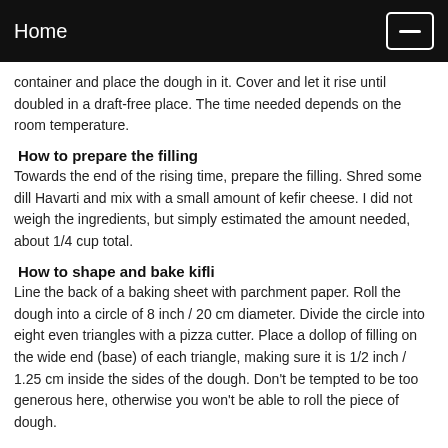Home
container and place the dough in it. Cover and let it rise until doubled in a draft-free place. The time needed depends on the room temperature.
How to prepare the filling
Towards the end of the rising time, prepare the filling. Shred some dill Havarti and mix with a small amount of kefir cheese. I did not weigh the ingredients, but simply estimated the amount needed, about 1/4 cup total.
How to shape and bake kifli
Line the back of a baking sheet with parchment paper. Roll the dough into a circle of 8 inch / 20 cm diameter. Divide the circle into eight even triangles with a pizza cutter. Place a dollop of filling on the wide end (base) of each triangle, making sure it is 1/2 inch / 1.25 cm inside the sides of the dough. Don't be tempted to be too generous here, otherwise you won't be able to roll the piece of dough.
Fold the wide end over the filling and roll toward the point, making sure there are no escape routes for the filling. Place the